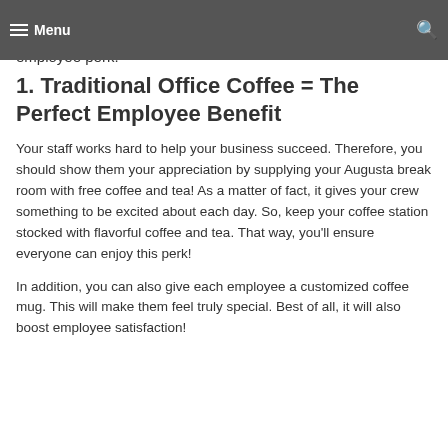Menu
an Augusta office coffee service could be the answer. Here are four reasons why traditional coffee is a great employee perk.
1. Traditional Office Coffee = The Perfect Employee Benefit
Your staff works hard to help your business succeed. Therefore, you should show them your appreciation by supplying your Augusta break room with free coffee and tea! As a matter of fact, it gives your crew something to be excited about each day. So, keep your coffee station stocked with flavorful coffee and tea. That way, you'll ensure everyone can enjoy this perk!
In addition, you can also give each employee a customized coffee mug. This will make them feel truly special. Best of all, it will also boost employee satisfaction!